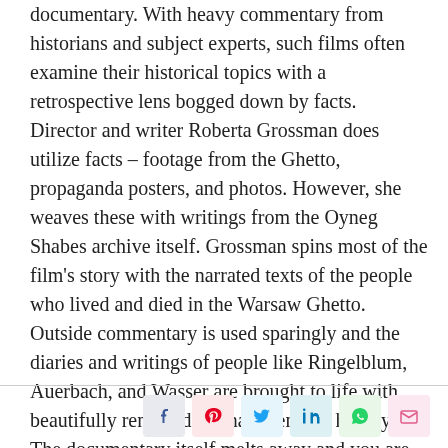documentary. With heavy commentary from historians and subject experts, such films often examine their historical topics with a retrospective lens bogged down by facts. Director and writer Roberta Grossman does utilize facts – footage from the Ghetto, propaganda posters, and photos. However, she weaves these with writings from the Oyneg Shabes archive itself. Grossman spins most of the film's story with the narrated texts of the people who lived and died in the Warsaw Ghetto. Outside commentary is used sparingly and the diaries and writings of people like Ringelblum, Auerbach, and Wasser are brought to life with beautifully rendered re-enactments of history. The documentary itself melts away and you are drawn into something that feels very real. A man's first-hand account takes you through a day in the Ghetto and you are made to feel the persistency with which hunger reminds one that he is hungry.